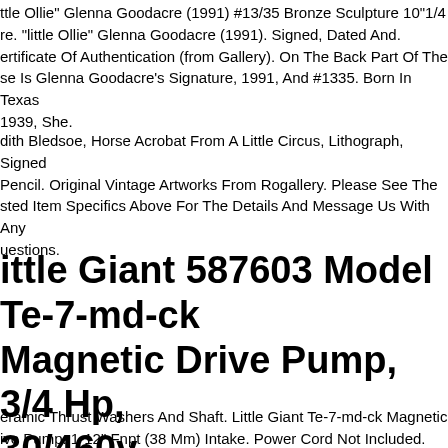ttle Ollie" Glenna Goodacre (1991) #13/35 Bronze Sculpture 10"1/4 re. "little Ollie" Glenna Goodacre (1991). Signed, Dated And. ertificate Of Authentication (from Gallery). On The Back Part Of The se Is Glenna Goodacre's Signature, 1991, And #1335. Born In Texas 1939, She.
dith Bledsoe, Horse Acrobat From A Little Circus, Lithograph, Signed Pencil. Original Vintage Artworks From Rogallery. Please See The sted Item Specifics Above For The Details And Message Us With Any uestions.
Little Giant 587603 Model Te-7-md-ck Magnetic Drive Pump, 3/4 Hp, 230/460v
eramic Thrust Washers And Shaft. Little Giant Te-7-md-ck Magnetic ive Pump. 1-12" Fnpt (38 Mm) Intake. Power Cord Not Included.